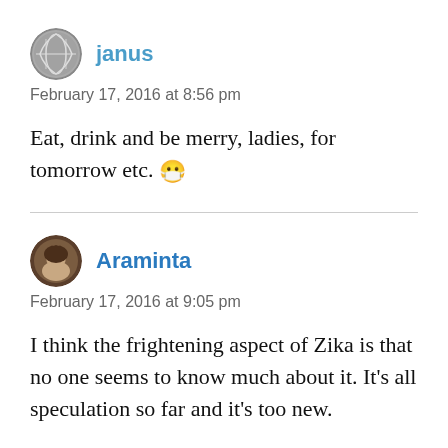[Figure (illustration): Circular avatar icon for user 'janus' showing a globe-like graphic]
janus
February 17, 2016 at 8:56 pm
Eat, drink and be merry, ladies, for tomorrow etc. 😷
[Figure (illustration): Circular avatar icon for user 'Araminta' showing a portrait illustration]
Araminta
February 17, 2016 at 9:05 pm
I think the frightening aspect of Zika is that no one seems to know much about it. It's all speculation so far and it's too new.
No, I wouldn't want to travel to any area where this sort of disease was rife and I'm far too old